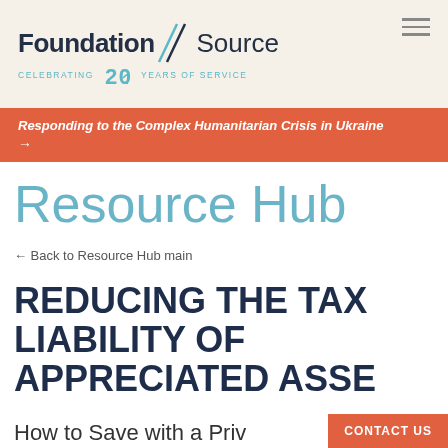Foundation Source — CELEBRATING 20 YEARS OF SERVICE
Responding to the Complex Humanitarian Crisis in Ukraine →
Resource Hub
← Back to Resource Hub main
REDUCING THE TAX LIABILITY OF APPRECIATED ASSETS
How to Save with a Priv